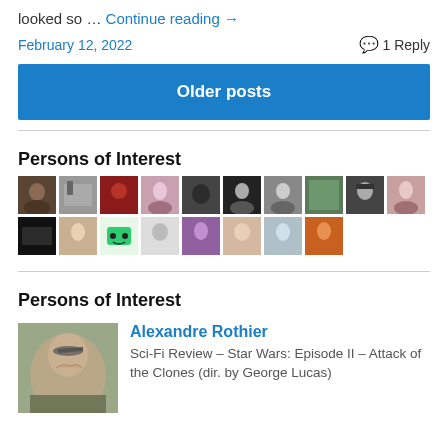looked so … Continue reading →
February 12, 2022   💬 1 Reply
Older posts
Persons of Interest
[Figure (photo): Grid of 18 avatar/profile photos in two rows]
Persons of Interest
[Figure (photo): Photo of a man touching his head]
Alexandre Rothier
Sci-Fi Review – Star Wars: Episode II – Attack of the Clones (dir. by George Lucas)